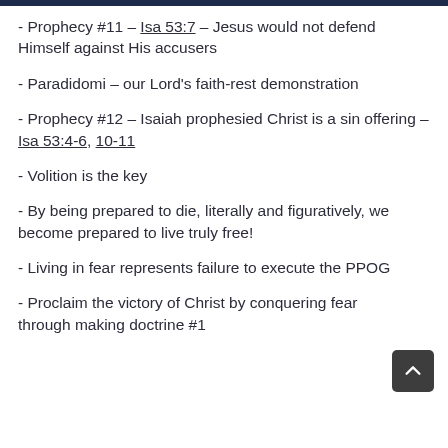- Prophecy #11 – Isa 53:7 – Jesus would not defend Himself against His accusers
- Paradidomi – our Lord's faith-rest demonstration
- Prophecy #12 – Isaiah prophesied Christ is a sin offering – Isa 53:4-6, 10-11
- Volition is the key
- By being prepared to die, literally and figuratively, we become prepared to live truly free!
- Living in fear represents failure to execute the PPOG
- Proclaim the victory of Christ by conquering fear through making doctrine #1